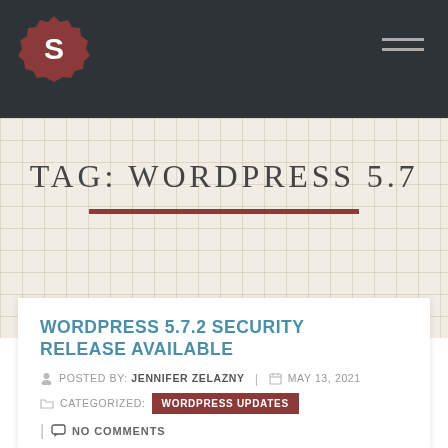S [logo] — navigation header with hamburger menu
TAG: WORDPRESS 5.7
WORDPRESS 5.7.2 SECURITY RELEASE AVAILABLE
POSTED BY: JENNIFER ZELAZNY | MAY 13, 2021
CATEGORIZED: WORDPRESS UPDATES
| NO COMMENTS